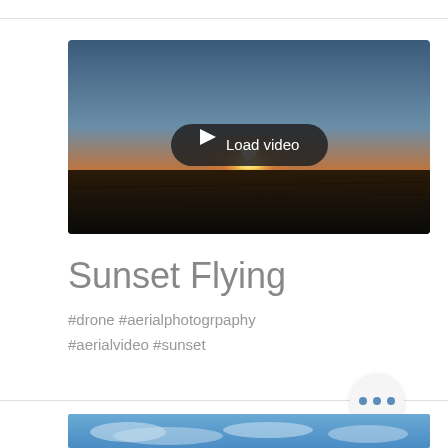[Figure (photo): Aerial sunset video thumbnail showing a flat landscape with the sun setting on the horizon, warm orange glow, dark foreground, with a 'Load video' button overlay.]
Sunset Flying
#drone #aerialphotogrpaphy #aerialvideo #sunset
[Figure (photo): Bottom cropped image showing a blue sky with clouds, partially visible at the bottom of the page.]